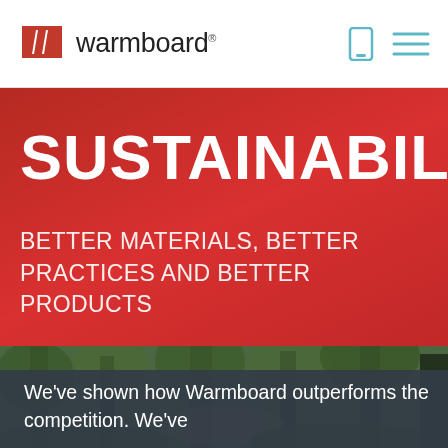warmboard
SUSTAINABILITY
BETTER MATERIALS, BETTER PRACTICES AND BETTER PRODUCTS
[Figure (photo): Forest path with green trees and foliage]
We've shown how Warmboard outperforms the competition. We've